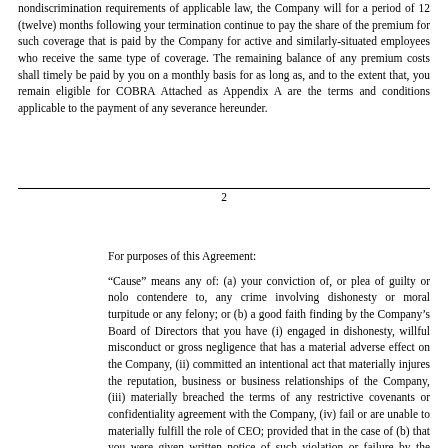nondiscrimination requirements of applicable law, the Company will for a period of 12 (twelve) months following your termination continue to pay the share of the premium for such coverage that is paid by the Company for active and similarly-situated employees who receive the same type of coverage. The remaining balance of any premium costs shall timely be paid by you on a monthly basis for as long as, and to the extent that, you remain eligible for COBRA Attached as Appendix A are the terms and conditions applicable to the payment of any severance hereunder.
2
For purposes of this Agreement:
“Cause” means any of: (a) your conviction of, or plea of guilty or nolo contendere to, any crime involving dishonesty or moral turpitude or any felony; or (b) a good faith finding by the Company’s Board of Directors that you have (i) engaged in dishonesty, willful misconduct or gross negligence that has a material adverse effect on the Company, (ii) committed an intentional act that materially injures the reputation, business or business relationships of the Company, (iii) materially breached the terms of any restrictive covenants or confidentiality agreement with the Company, (iv) fail or are unable to materially fulfill the role of CEO; provided that in the case of (b) that you were given written notice of such violation or failure by the Board and a period of 30 days to cure (provided that the Board determines that such violation